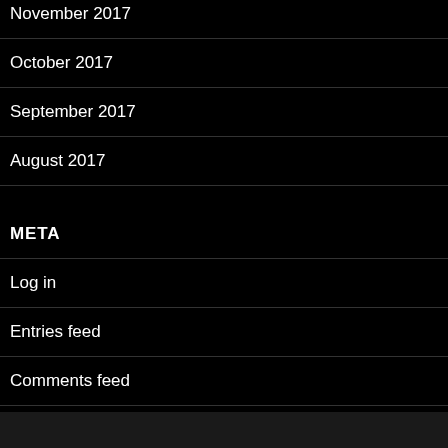November 2017
October 2017
September 2017
August 2017
META
Log in
Entries feed
Comments feed
WordPress.org